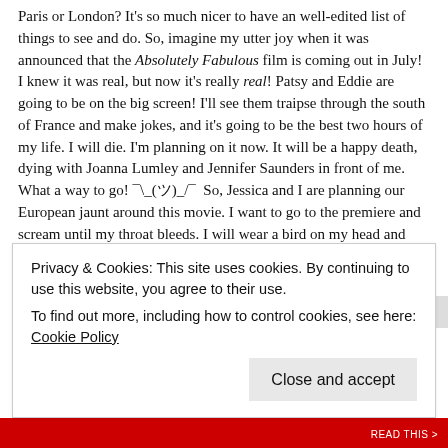Paris or London? It's so much nicer to have an well-edited list of things to see and do. So, imagine my utter joy when it was announced that the Absolutely Fabulous film is coming out in July! I knew it was real, but now it's really real! Patsy and Eddie are going to be on the big screen! I'll see them traipse through the south of France and make jokes, and it's going to be the best two hours of my life. I will die. I'm planning on it now. It will be a happy death, dying with Joanna Lumley and Jennifer Saunders in front of me. What a way to go! ¯\_(ツ)_/¯  So, Jessica and I are planning our European jaunt around this movie. I want to go to the premiere and scream until my throat bleeds. I will wear a bird on my head and say, "Will it stay with me forever?" Then I will squeal endlessly as I joke, "Is it a bee?" It will be too much for me. If I get either of their autographs, I will head to the nearest tattoo shop and get their names inked upon me immediately. Jennifer and Joanna are great inspirations to me. I admire those two more than anybody. They are funny and generous and courageous and  Joanna Lumley is one of the only people in the world that I
Privacy & Cookies: This site uses cookies. By continuing to use this website, you agree to their use.
To find out more, including how to control cookies, see here: Cookie Policy
Close and accept